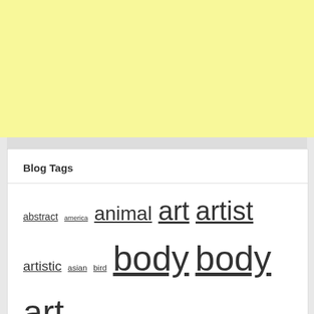[Figure (other): Yellow banner at top of page]
Blog Tags
abstract america animal art artist artistic asian bird body body art cartoon character color creature cute death design dotwork europe feminine floral flower geometric girl guys illustration images ink inspiration life man mandala meaning of men painting pictures skull spiritual symbol tattoo totem video watercolor wings woman